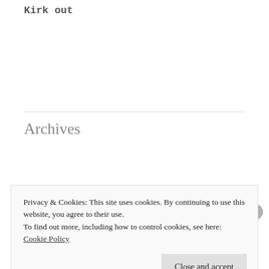Kirk out
Archives
January 2021 (22)
Privacy & Cookies: This site uses cookies. By continuing to use this website, you agree to their use.
To find out more, including how to control cookies, see here: Cookie Policy
Close and accept